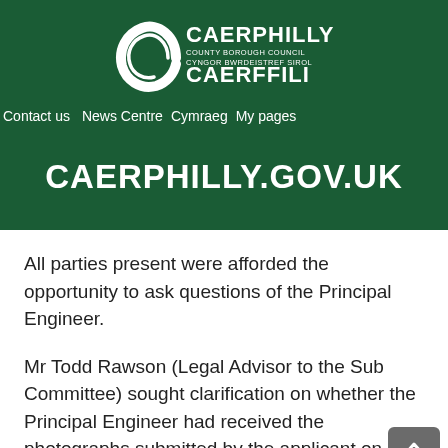[Figure (logo): Caerphilly County Borough Council / Cyngor Bwrdeistref Sirol Caerffili logo — white circular C motif with text on dark green background]
Contact us   News Centre   Cymraeg   My pages
CAERPHILLY.GOV.UK
All parties present were afforded the opportunity to ask questions of the Principal Engineer.
Mr Todd Rawson (Legal Advisor to the Sub Committee) sought clarification on whether the Principal Engineer had received the photographs submitted by the applicant on